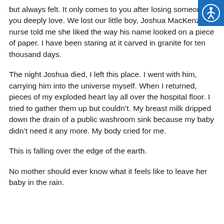but always felt. It only comes to you after losing someone you deeply love. We lost our little boy, Joshua MacKenzie. A nurse told me she liked the way his name looked on a piece of paper. I have been staring at it carved in granite for ten thousand days.
The night Joshua died, I left this place. I went with him, carrying him into the universe myself. When I returned, pieces of my exploded heart lay all over the hospital floor. I tried to gather them up but couldn't. My breast milk dripped down the drain of a public washroom sink because my baby didn't need it any more. My body cried for me.
This is falling over the edge of the earth.
No mother should ever know what it feels like to leave her baby in the rain.
[Figure (illustration): Accessibility icon — white person in circle symbol on blue square background, top-right corner]